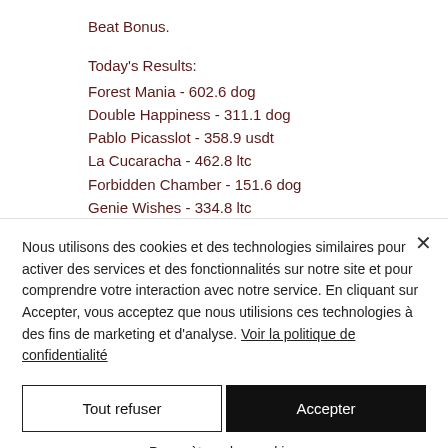Beat Bonus.
Today's Results:
Forest Mania - 602.6 dog
Double Happiness - 311.1 dog
Pablo Picasslot - 358.9 usdt
La Cucaracha - 462.8 ltc
Forbidden Chamber - 151.6 dog
Genie Wishes - 334.8 ltc
Nous utilisons des cookies et des technologies similaires pour activer des services et des fonctionnalités sur notre site et pour comprendre votre interaction avec notre service. En cliquant sur Accepter, vous acceptez que nous utilisions ces technologies à des fins de marketing et d'analyse. Voir la politique de confidentialité
Tout refuser
Accepter
Paramètres des cookies